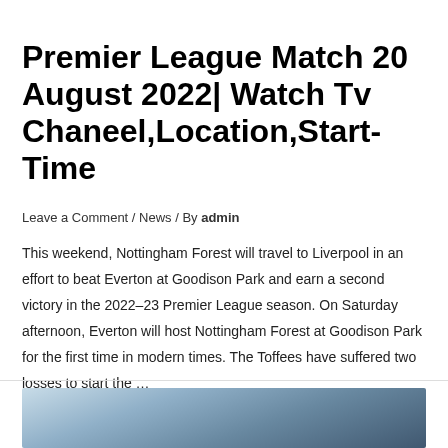Premier League Match 20 August 2022| Watch Tv Chaneel,Location,Start-Time
Leave a Comment / News / By admin
This weekend, Nottingham Forest will travel to Liverpool in an effort to beat Everton at Goodison Park and earn a second victory in the 2022–23 Premier League season. On Saturday afternoon, Everton will host Nottingham Forest at Goodison Park for the first time in modern times. The Toffees have suffered two losses to start the …
Read More »
[Figure (photo): Bottom portion of a photo, partially cropped, showing a blurred outdoor/stadium scene with blue and grey tones.]